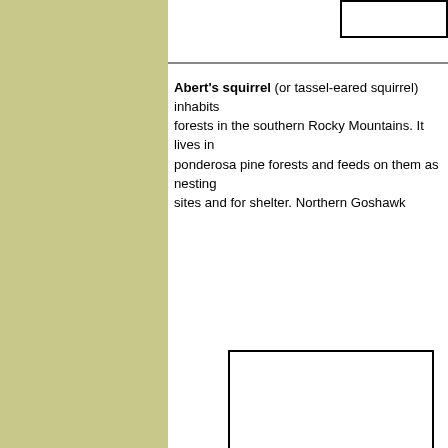[Figure (other): Partial image box visible at top right corner of the page]
Abert's squirrel (or tassel-eared squirrel) inhabits forests in the southern Rocky Mountains. It lives in ponderosa pine forests and feeds on them as nesting sites and for shelter. Northern Goshawk...
[Figure (other): Large empty image box in the lower right portion of the page]